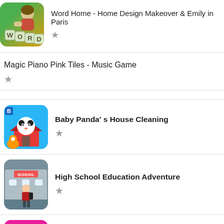Word Home - Home Design Makeover & Emily in Paris
[Figure (screenshot): App icon for Word Home game showing animated girl with word tiles]
★
Magic Piano Pink Tiles - Music Game
★
[Figure (screenshot): App icon for Baby Panda's House Cleaning showing panda and dog characters]
Baby Panda's House Cleaning
★
[Figure (screenshot): App icon for High School Education Adventure showing 3D character in school setting]
High School Education Adventure
★
[Figure (screenshot): App icon for Learn Colors for Toddlers showing colored dots on pink background]
Learn Colors for Toddlers - Educational Kids Game!
2.5.10